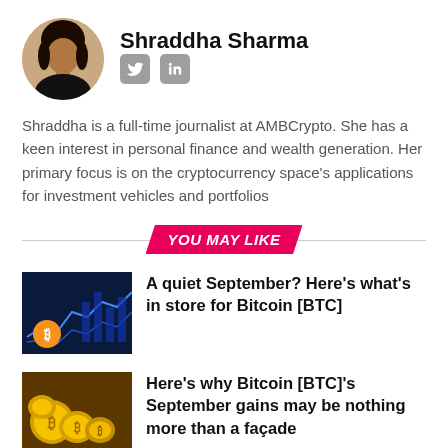[Figure (photo): Circular avatar photo of Shraddha Sharma]
Shraddha Sharma
[Figure (logo): Twitter and LinkedIn social media icons]
Shraddha is a full-time journalist at AMBCrypto. She has a keen interest in personal finance and wealth generation. Her primary focus is on the cryptocurrency space's applications for investment vehicles and portfolios
YOU MAY LIKE
[Figure (photo): Bitcoin chart image with blue background]
A quiet September? Here’s what’s in store for Bitcoin [BTC]
[Figure (photo): Gold Bitcoin coins pile]
Here’s why Bitcoin [BTC]’s September gains may be nothing more than a façade
[Figure (photo): Dark blue background crypto image]
Bitcoin [BTC]: Should investors expect